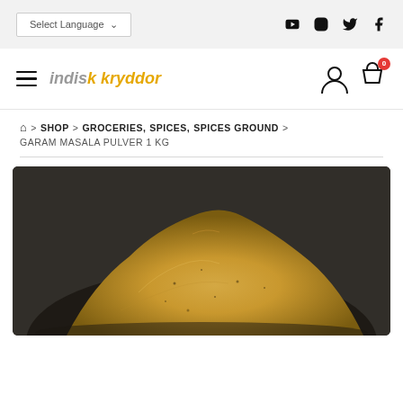Select Language | social icons: YouTube, Instagram, Twitter, Facebook
[Figure (logo): Indisk Kryddor logo with hamburger menu icon]
🏠 > SHOP > GROCERIES, SPICES, SPICES GROUND > GARAM MASALA PULVER 1 KG
[Figure (photo): Close-up photo of a mound of golden-yellow garam masala powder on a dark surface]